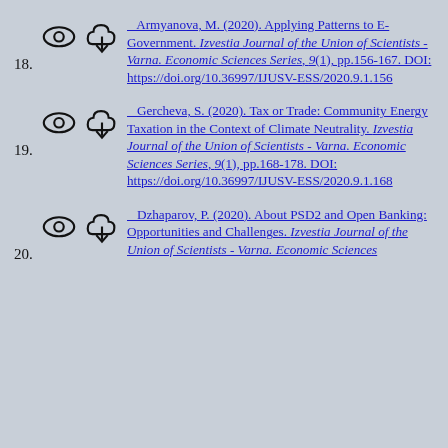18. Armyanova, M. (2020). Applying Patterns to E-Government. Izvestia Journal of the Union of Scientists - Varna. Economic Sciences Series, 9(1), pp.156-167. DOI: https://doi.org/10.36997/IJUSV-ESS/2020.9.1.156
19. Gercheva, S. (2020). Tax or Trade: Community Energy Taxation in the Context of Climate Neutrality. Izvestia Journal of the Union of Scientists - Varna. Economic Sciences Series, 9(1), pp.168-178. DOI: https://doi.org/10.36997/IJUSV-ESS/2020.9.1.168
20. Dzhaparov, P. (2020). About PSD2 and Open Banking: Opportunities and Challenges. Izvestia Journal of the Union of Scientists - Varna. Economic Sciences Series, ...